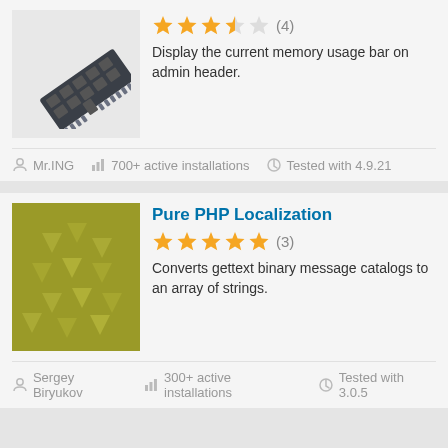[Figure (illustration): RAM memory stick icon illustration in dark gray/charcoal style]
[Figure (other): Star rating: 3.5 out of 5 stars (4 ratings)]
Display the current memory usage bar on admin header.
Mr.ING
700+ active installations
Tested with 4.9.21
Pure PHP Localization
[Figure (illustration): Olive/yellow-green colored plugin icon with abstract arrow shapes forming a cycle]
[Figure (other): Star rating: 5 out of 5 stars (3 ratings)]
Converts gettext binary message catalogs to an array of strings.
Sergey Biryukov
300+ active installations
Tested with 3.0.5